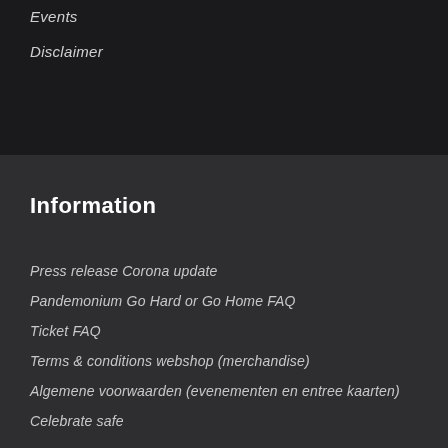Events
Disclaimer
Information
Press release Corona update
Pandemonium Go Hard or Go Home FAQ
Ticket FAQ
Terms & conditions webshop (merchandise)
Algemene voorwaarden (evenementen en entree kaarten)
Celebrate safe